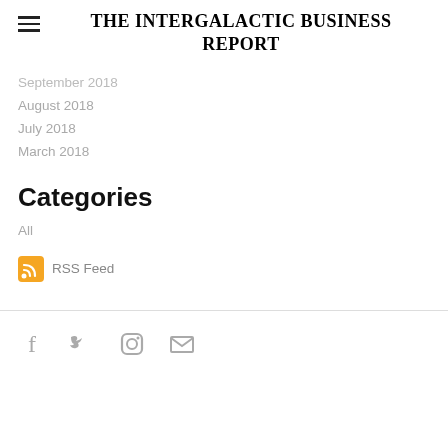THE INTERGALACTIC BUSINESS REPORT
September 2018
August 2018
July 2018
March 2018
Categories
All
RSS Feed
[Figure (other): Social media icons: Facebook, Twitter, Instagram, Email]